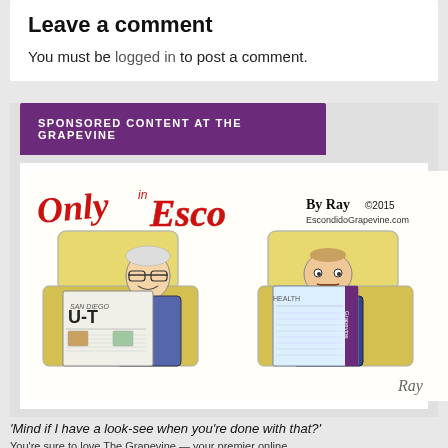Leave a comment
You must be logged in to post a comment.
SPONSORED CONTENT AT THE GRAPEVINE
[Figure (illustration): Only in Esco cartoon by Ray ©2015 EscondidoGrapevine.com — two men sitting on a bus/train, one reading the San Diego U-T newspaper, the other reading The Grapevine. The one with U-T is looking over at the Grapevine reader.]
'Mind if I have a look-see when you're done with that?'
You're sure to love The Grapevine — your premier online…